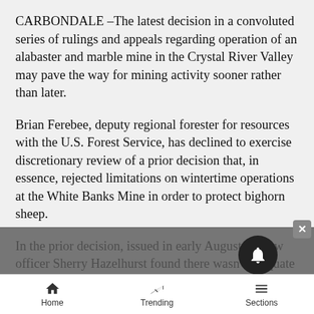CARBONDALE –The latest decision in a convoluted series of rulings and appeals regarding operation of an alabaster and marble mine in the Crystal River Valley may pave the way for mining activity sooner rather than later.
Brian Ferebee, deputy regional forester for resources with the U.S. Forest Service, has declined to exercise discretionary review of a prior decision that, in essence, rejected limitations on wintertime operations at the White Banks Mine in order to protect bighorn sheep.
In the prior decision, issued in early August, review officer Sherry Hazelhurst found there wasn't adequate evidence that the mine, also known as the Mystic Eagle Mine, would have enough of an impact on
Home   Trending   Sections